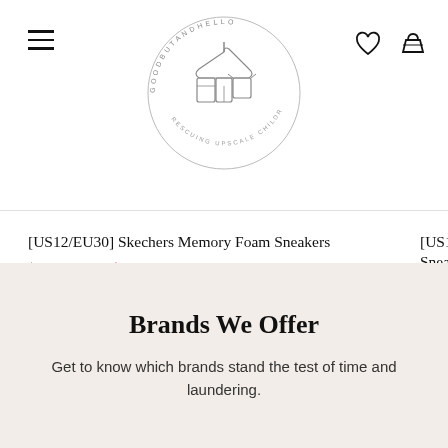[Figure (logo): Goodbuy and Hello circular logo with illustrated children's clothing items and text around the border]
[US12/EU30] Skechers Memory Foam Sneakers
$59.99 CAD  $21.99 CAD
[US13.5/EU31] Sk... Sneakers
$59.99 CAD  $23...
Brands We Offer
Get to know which brands stand the test of time and laundering.